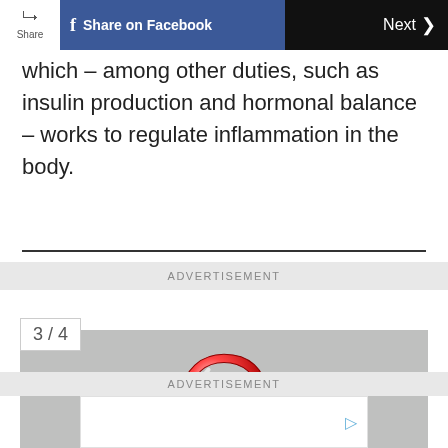Share | Share on Facebook | Next >
which – among other duties, such as insulin production and hormonal balance – works to regulate inflammation in the body.
ADVERTISEMENT
3 / 4
[Figure (illustration): A red and white 3D question mark on a grey background]
ADVERTISEMENT